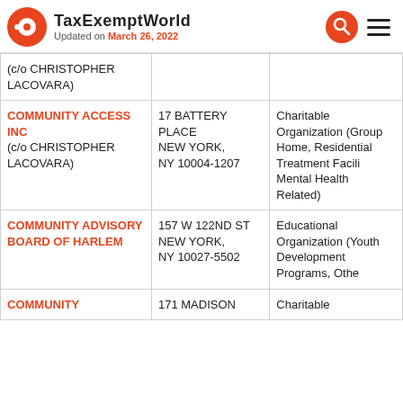TaxExemptWorld Updated on March 26, 2022
| Organization | Address | Type |
| --- | --- | --- |
| (c/o CHRISTOPHER LACOVARA) |  |  |
| COMMUNITY ACCESS INC (c/o CHRISTOPHER LACOVARA) | 17 BATTERY PLACE NEW YORK, NY 10004-1207 | Charitable Organization (Group Home, Residential Treatment Facili Mental Health Related) |
| COMMUNITY ADVISORY BOARD OF HARLEM | 157 W 122ND ST NEW YORK, NY 10027-5502 | Educational Organization (Youth Development Programs, Othe |
| COMMUNITY | 171 MADISON | Charitable |